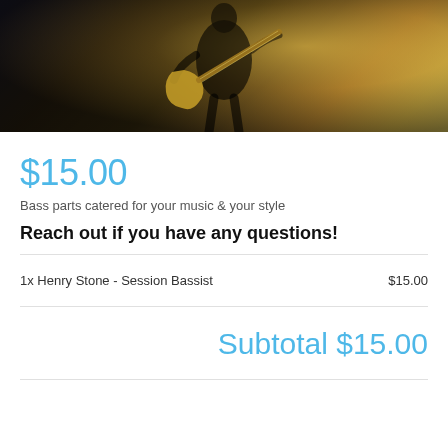[Figure (photo): A guitarist performing on stage holding a yellow/gold electric bass guitar, lit by warm stage lighting with a bright glow in the background.]
$15.00
Bass parts catered for your music & your style
Reach out if you have any questions!
| Item | Price |
| --- | --- |
| 1x Henry Stone - Session Bassist | $15.00 |
Subtotal $15.00